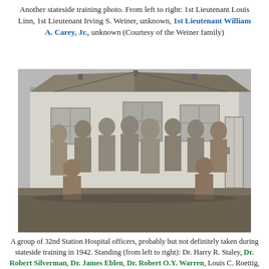Another stateside training photo. From left to right: 1st Lieutenant Louis Linn, 1st Lieutenant Irving S. Weiner, unknown, 1st Lieutenant William A. Carey, Jr., unknown (Courtesy of the Weiner family)
[Figure (photo): Black and white group photo of military officers in light uniforms standing and kneeling in front of a white building. Approximately 11 men total — some standing in back rows, two kneeling in front.]
A group of 32nd Station Hospital officers, probably but not definitely taken during stateside training in 1942. Standing (from left to right): Dr. Harry R. Staley, Dr. Robert Silverman, Dr. James Eblen, Dr. Robert O.Y. Warren, Louis C. Roettig, Dr. Thomas F. Feltz, Dr. Candler Willis, Dr. Raymond A. Hall, Dr. William A. Carey, Jr., Dr. Isadore Wessel. Kneeling (from left to right): Dr. Landon Timberlake, Dr.